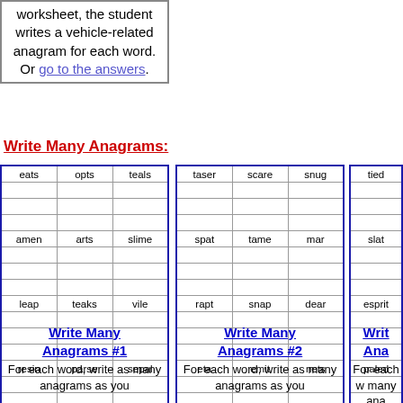worksheet, the student writes a vehicle-related anagram for each word. Or go to the answers.
Write Many Anagrams:
| eats | opts | teals |
| --- | --- | --- |
|  |  |  |
|  |  |  |
|  |  |  |
| amen | arts | slime |
|  |  |  |
|  |  |  |
|  |  |  |
| leap | teaks | vile |
|  |  |  |
|  |  |  |
|  |  |  |
| resin | parse | sepal |
|  |  |  |
|  |  |  |
|  |  |   |
| taser | scare | snug |
| --- | --- | --- |
|  |  |  |
|  |  |  |
|  |  |  |
| spat | tame | mar |
|  |  |  |
|  |  |  |
|  |  |  |
| rapt | snap | dear |
|  |  |  |
|  |  |  |
|  |  |  |
| eta | emit | nets |
|  |  |  |
|  |  |  |
|  |  |  |
| tied | ... |
| --- | --- |
|  |  |
| slat | s |
| esprit | m |
| paled | n |
Write Many Anagrams #1 — For each word, write as many anagrams as you
Write Many Anagrams #2 — For each word, write as many anagrams as you
Write Anagrams — For each w many ana